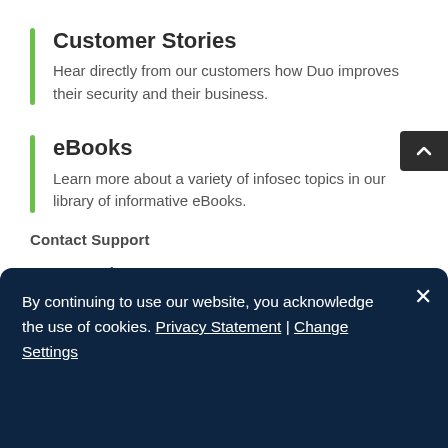Customer Stories
Hear directly from our customers how Duo improves their security and their business.
eBooks
Learn more about a variety of infosec topics in our library of informative eBooks.
Contact Support
Contact Sales
[Figure (illustration): Social media icons: Facebook, Twitter, Instagram, LinkedIn]
By continuing to use our website, you acknowledge the use of cookies. Privacy Statement | Change Settings